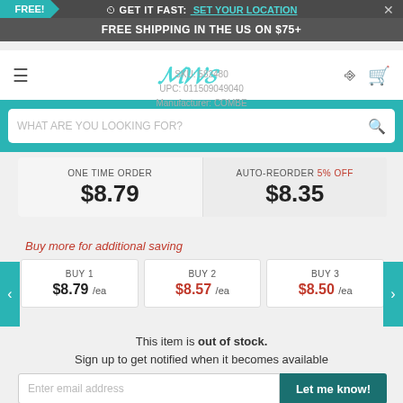FREE! GET IT FAST: SET YOUR LOCATION ×
FREE SHIPPING IN THE US ON $75+
SKU: 582480
UPC: 011509049040
Manufacturer: COMBE
WHAT ARE YOU LOOKING FOR?
| ONE TIME ORDER | AUTO-REORDER 5% OFF |
| --- | --- |
| $8.79 | $8.35 |
Buy more for additional saving
| BUY 1 | BUY 2 | BUY 3 |
| --- | --- | --- |
| $8.79 /ea | $8.57 /ea | $8.50 /ea |
This item is out of stock.
Sign up to get notified when it becomes available
Enter email address
Let me know!